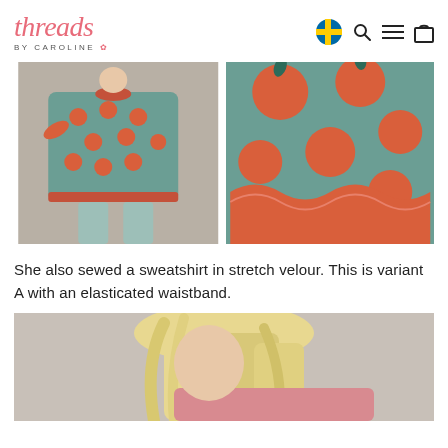threads BY CAROLINE
[Figure (photo): Two side-by-side photos of a child wearing a green sweatshirt with orange apple print and ruffle details]
She also sewed a sweatshirt in stretch velour. This is variant A with an elasticated waistband.
[Figure (photo): Partial photo of a blonde child wearing a pink sweatshirt, cropped at bottom of page]